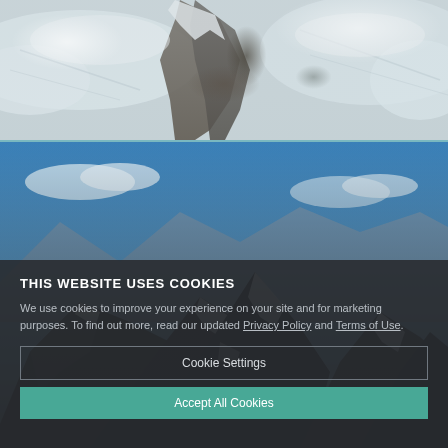[Figure (photo): Aerial view of snow-covered mountain ridge with rocky dark peak in center, surrounded by white glacial snow fields]
[Figure (photo): Mountain peaks with dark rocky summits covered in snow against a blue sky with white clouds]
THIS WEBSITE USES COOKIES
We use cookies to improve your experience on your site and for marketing purposes. To find out more, read our updated Privacy Policy and Terms of Use.
Cookie Settings
Accept All Cookies